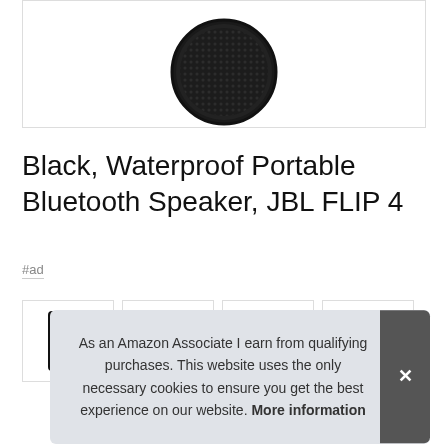[Figure (photo): Black JBL Flip 4 Bluetooth speaker viewed from top, shown partially at the top of the page inside a bordered box]
Black, Waterproof Portable Bluetooth Speaker, JBL FLIP 4
#ad
[Figure (photo): Thumbnail images row showing the JBL Flip 4 in different angles, partially visible behind cookie banner]
As an Amazon Associate I earn from qualifying purchases. This website uses the only necessary cookies to ensure you get the best experience on our website. More information